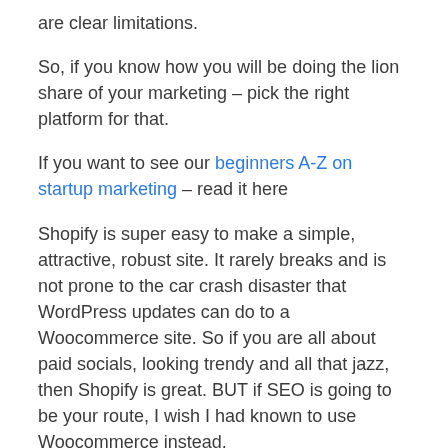are clear limitations.
So, if you know how you will be doing the lion share of your marketing – pick the right platform for that.
If you want to see our beginners A-Z on startup marketing – read it here
Shopify is super easy to make a simple, attractive, robust site. It rarely breaks and is not prone to the car crash disaster that WordPress updates can do to a Woocommerce site. So if you are all about paid socials, looking trendy and all that jazz, then Shopify is great. BUT if SEO is going to be your route, I wish I had known to use Woocommerce instead.
Verdict: I need an SEO friendly site and Woocommerce hosted on WordPress would have been my choice.